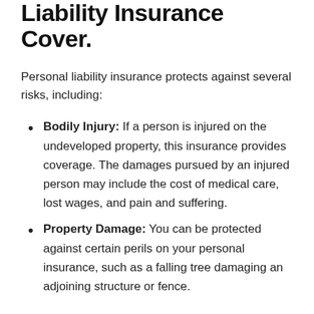Liability Insurance Cover.
Personal liability insurance protects against several risks, including:
Bodily Injury: If a person is injured on the undeveloped property, this insurance provides coverage. The damages pursued by an injured person may include the cost of medical care, lost wages, and pain and suffering.
Property Damage: You can be protected against certain perils on your personal insurance, such as a falling tree damaging an adjoining structure or fence.